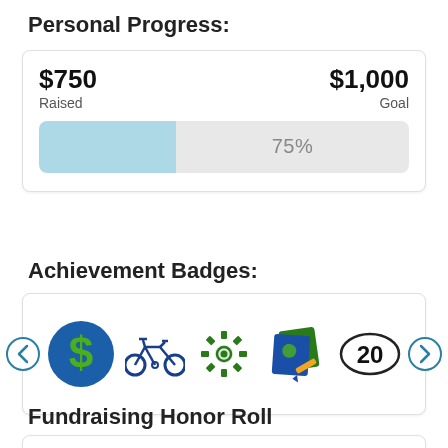Personal Progress:
[Figure (infographic): Progress card showing $750 Raised vs $1,000 Goal with a horizontal progress bar at 75% filled in light blue]
Achievement Badges:
[Figure (infographic): Achievement badges carousel showing: dollar sign badge (blue circle with green $), bicycle badge, gear/cog badge, photo/camera badge, and a number 20 badge in oval. Left and right arrow navigation buttons on sides.]
Fundraising Honor Roll